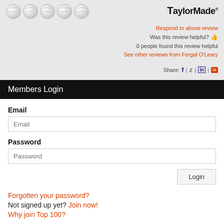[Figure (other): Five golf balls shown as circular icons in a row]
[Figure (logo): TaylorMade logo with stylized T and brand name]
Respond to above review
Was this review helpful? 👍
0 people found this review helpful
See other reviews from Fergal O'Leary
Share: f | 🐦 | in | ✉
Members Login
Email
Password
Forgotten your password?
Not signed up yet? Join now!
Why join Top 100?